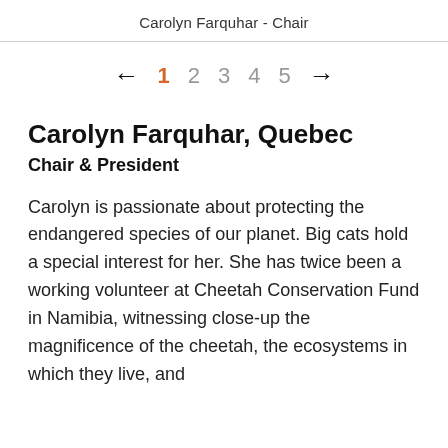Carolyn Farquhar - Chair
← 1 2 3 4 5 →
Carolyn Farquhar, Quebec
Chair & President
Carolyn is passionate about protecting the endangered species of our planet. Big cats hold a special interest for her. She has twice been a working volunteer at Cheetah Conservation Fund in Namibia, witnessing close-up the magnificence of the cheetah, the ecosystems in which they live, and